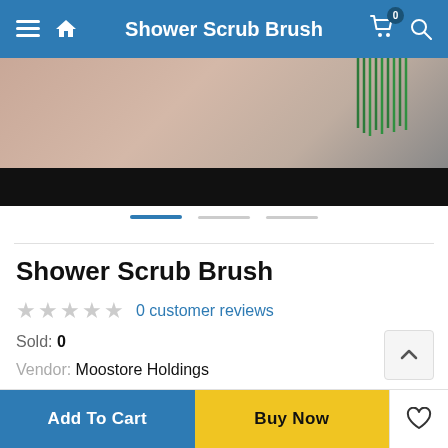Shower Scrub Brush
[Figure (photo): Product image of Shower Scrub Brush with dark bottom strip, pinkish/skin tones in upper portion, green brush bristles visible upper right]
Shower Scrub Brush
★★★★★ 0 customer reviews
Sold: 0
Vendor: Moostore Holdings
Add To Cart
Buy Now